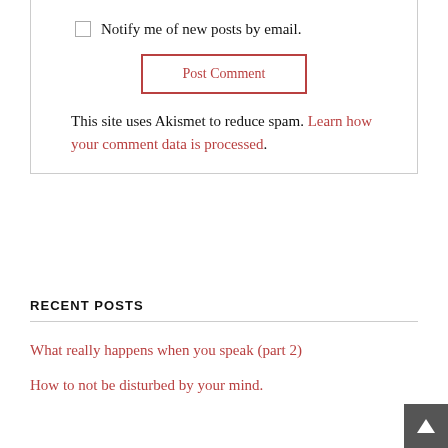Notify me of new posts by email.
Post Comment
This site uses Akismet to reduce spam. Learn how your comment data is processed.
RECENT POSTS
What really happens when you speak (part 2)
How to not be disturbed by your mind.